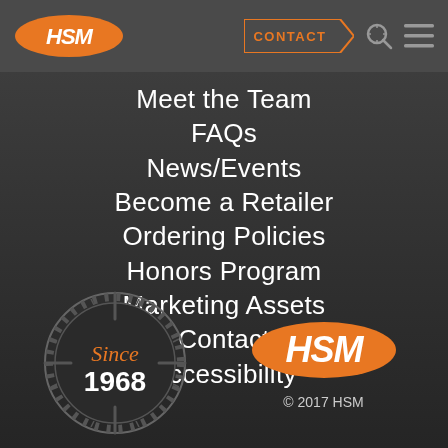HSM logo | CONTACT | search | menu
Meet the Team
FAQs
News/Events
Become a Retailer
Ordering Policies
Honors Program
Marketing Assets
Contact
Accessibility
[Figure (logo): Since 1968 crosshair badge]
[Figure (logo): HSM logo orange]
© 2017 HSM